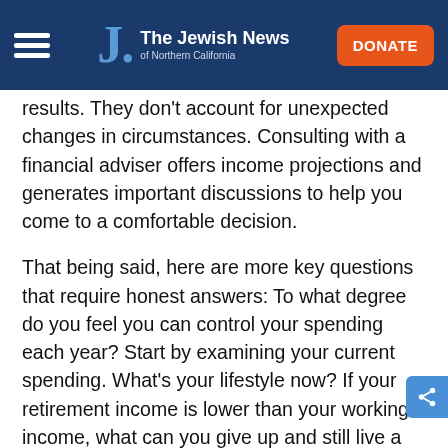The Jewish News of Northern California
results. They don't account for unexpected changes in circumstances. Consulting with a financial adviser offers income projections and generates important discussions to help you come to a comfortable decision.
That being said, here are more key questions that require honest answers: To what degree do you feel you can control your spending each year? Start by examining your current spending. What’s your lifestyle now? If your retirement income is lower than your working income, what can you give up and still live a satisfying life? Remember, too, your retirement income will be finite — if